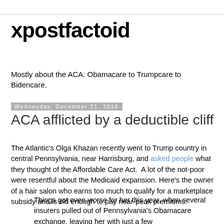xpostfactoid
Mostly about the ACA: Obamacare to Trumpcare to Bidencare.
Wednesday, December 21, 2016
ACA afflicted by a deductible cliff
The Atlantic's Olga Khazan recently went to Trump country in central Pennsylvania, near Harrisburg, and asked people what they thought of the Affordable Care Act.  A lot of the not-poor were resentful about the Medicaid expansion. Here's the owner of a hair salon who earns too much to qualify for a marketplace subsidy and is old enough to pay near-peak premiums:
Things got even worse for her this year, when several insurers pulled out of Pennsylvania's Obamacare exchange, leaving her with just a few